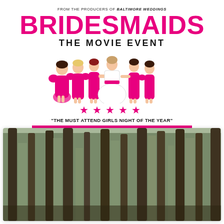FROM THE PRODUCERS OF BALTIMORE WEDDINGS
BRIDESMAIDS
THE MOVIE EVENT
[Figure (illustration): Illustrated group of six women in pink dresses and one in a white wedding gown, posed together as bridesmaids]
[Figure (infographic): Five pink stars rating]
"THE MUST ATTEND GIRLS NIGHT OF THE YEAR"
SEPTEMBER 15, 2022 | THE SENATOR
[Figure (photo): Outdoor forest/woodland photo with tall trees, muted green and brown tones]